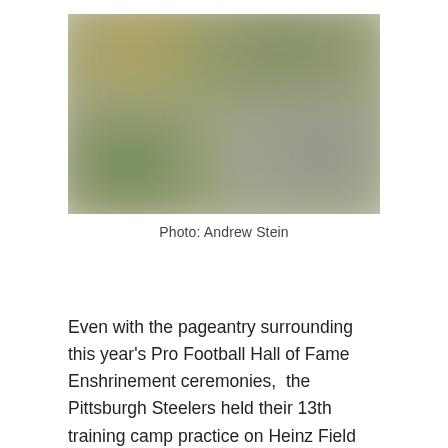[Figure (photo): Blurred outdoor photo showing green grass, golden/yellow tones in upper left, and gray blurred figures, likely a sports practice or outdoor event scene.]
Photo: Andrew Stein
Even with the pageantry surrounding this year's Pro Football Hall of Fame Enshrinement ceremonies,  the Pittsburgh Steelers held their 13th training camp practice on Heinz Field this afternoon. With the Hall of Fame